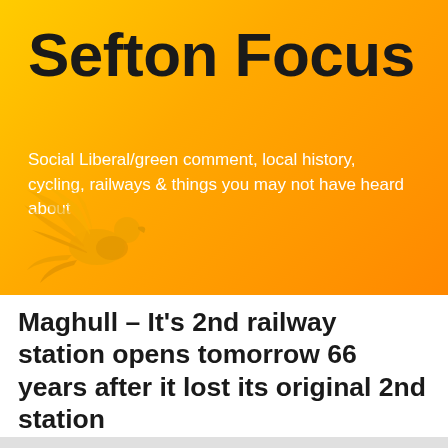Sefton Focus
Social Liberal/green comment, local history, cycling, railways & things you may not have heard about
[Figure (logo): Liberal Democrats bird logo in golden/yellow tones on orange-yellow gradient background]
Maghull – It's 2nd railway station opens tomorrow 66 years after it lost its original 2nd station